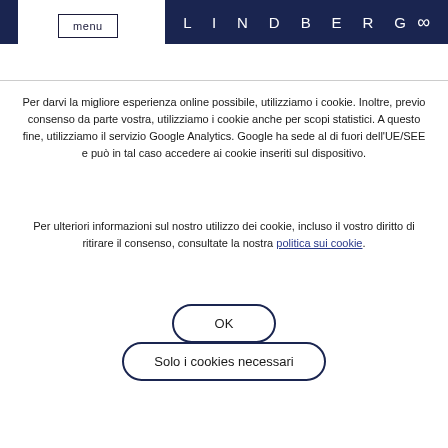menu   LINDBERG ∞
Per darvi la migliore esperienza online possibile, utilizziamo i cookie. Inoltre, previo consenso da parte vostra, utilizziamo i cookie anche per scopi statistici. A questo fine, utilizziamo il servizio Google Analytics. Google ha sede al di fuori dell'UE/SEE e può in tal caso accedere ai cookie inseriti sul dispositivo.
Per ulteriori informazioni sul nostro utilizzo dei cookie, incluso il vostro diritto di ritirare il consenso, consultate la nostra politica sui cookie.
OK
Solo i cookies necessari